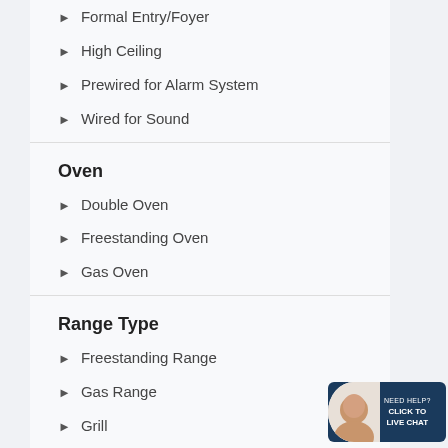Formal Entry/Foyer
High Ceiling
Prewired for Alarm System
Wired for Sound
Oven
Double Oven
Freestanding Oven
Gas Oven
Range Type
Freestanding Range
Gas Range
Grill
Bedroom Details
Primary Bed - 1st Floor